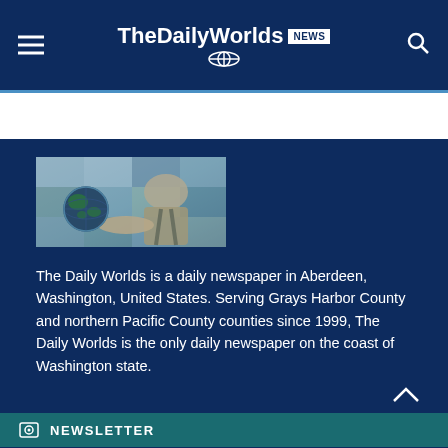TheDailyWorlds NEWS
[Figure (photo): A person holding a globe in their hand, representing world news coverage]
The Daily Worlds is a daily newspaper in Aberdeen, Washington, United States. Serving Grays Harbor County and northern Pacific County counties since 1999, The Daily Worlds is the only daily newspaper on the coast of Washington state.
NEWSLETTER